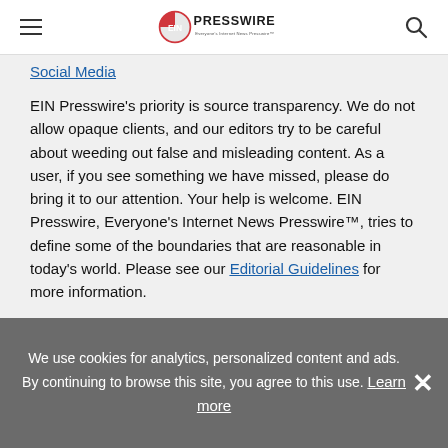EIN Presswire – Everyone's Internet News Presswire
Social Media
EIN Presswire's priority is source transparency. We do not allow opaque clients, and our editors try to be careful about weeding out false and misleading content. As a user, if you see something we have missed, please do bring it to our attention. Your help is welcome. EIN Presswire, Everyone's Internet News Presswire™, tries to define some of the boundaries that are reasonable in today's world. Please see our Editorial Guidelines for more information.
We use cookies for analytics, personalized content and ads. By continuing to browse this site, you agree to this use. Learn more